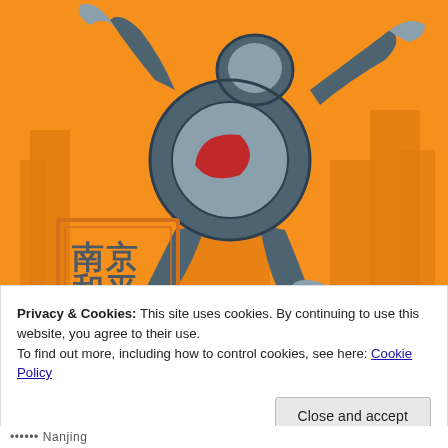[Figure (illustration): Stylized illustration of a robot/figure performing a breakdance move on an orange background with city silhouette. A Chinese seal stamp in bottom-left reads 南京 / 和平 (Nanjing / Peace) in an orange bordered rectangle.]
Privacy & Cookies: This site uses cookies. By continuing to use this website, you agree to their use.
To find out more, including how to control cookies, see here: Cookie Policy
Close and accept
•••••• Nanjing